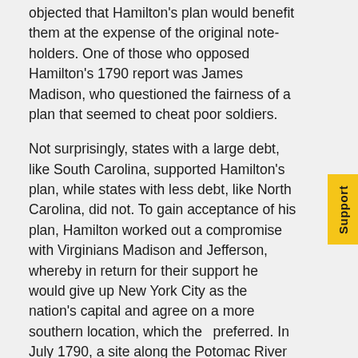objected that Hamilton's plan would benefit them at the expense of the original note-holders. One of those who opposed Hamilton's 1790 report was James Madison, who questioned the fairness of a plan that seemed to cheat poor soldiers.
Not surprisingly, states with a large debt, like South Carolina, supported Hamilton's plan, while states with less debt, like North Carolina, did not. To gain acceptance of his plan, Hamilton worked out a compromise with Virginians Madison and Jefferson, whereby in return for their support he would give up New York City as the nation's capital and agree on a more southern location, which they preferred. In July 1790, a site along the Potomac River was selected as the new “federal city,” which became the District of Columbia.
Hamilton’s plan to convert notes to bonds worked extremely well to restore European confidence in the U.S. economy. It also proved a windfall for creditors, especially those who had bought up state and Confederation notes at far less than face value. But it immediately generated controversy about the size and scope of the